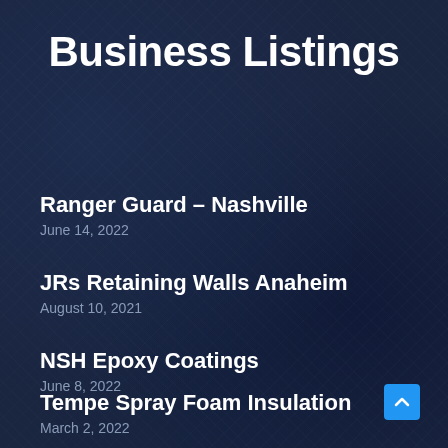Business Listings
Ranger Guard – Nashville
June 14, 2022
JRs Retaining Walls Anaheim
August 10, 2021
NSH Epoxy Coatings
June 8, 2022
Tempe Spray Foam Insulation
March 2, 2022